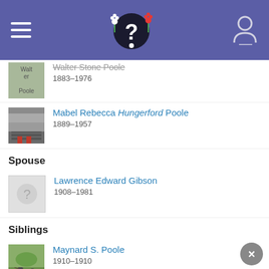Genealogy app header with hamburger menu, logo with question mark, and person icon
Walter Stone Poole 1883–1976
Mabel Rebecca Hungerford Poole 1889–1957
Spouse
Lawrence Edward Gibson 1908–1981
Siblings
Maynard S. Poole 1910–1910
Thomas W. Poole 1911–1911
Mildred Virginia Poole Stottlemyer 1912–2006